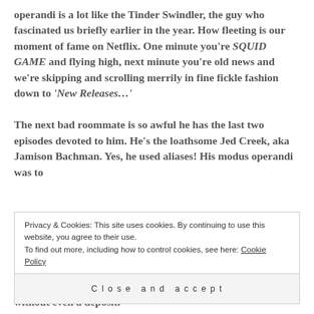operandi is a lot like the Tinder Swindler, the guy who fascinated us briefly earlier in the year. How fleeting is our moment of fame on Netflix. One minute you're SQUID GAME and flying high, next minute you're old news and we're skipping and scrolling merrily in fine fickle fashion down to 'New Releases…'
The next bad roommate is so awful he has the last two episodes devoted to him. He's the loathsome Jed Creek, aka Jamison Bachman. Yes, he used aliases! His modus operandi was to
Privacy & Cookies: This site uses cookies. By continuing to use this website, you agree to their use. To find out more, including how to control cookies, see here: Cookie Policy
Close and accept
without even a deposit.